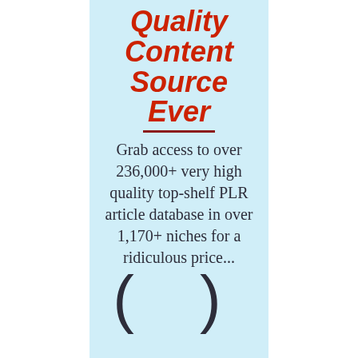Quality Content Source Ever
Grab access to over 236,000+ very high quality top-shelf PLR article database in over 1,170+ niches for a ridiculous price...